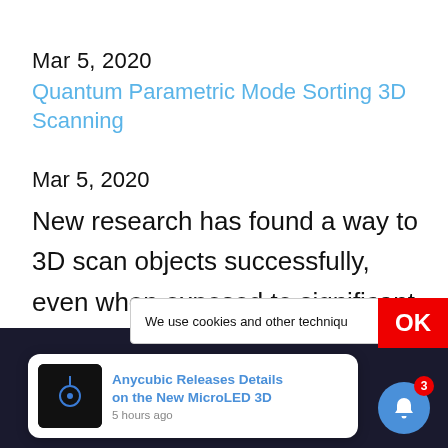Mar 5, 2020
Quantum Parametric Mode Sorting 3D Scanning
Mar 5, 2020
New research has found a way to 3D scan objects successfully, even when exposed to significant reflected light.
We use cookies and other technique
OK
[Figure (screenshot): Notification popup: Anycubic Releases Details on the New MicroLED 3D — 5 hours ago]
Anycubic Releases Details on the New MicroLED 3D 5 hours ago